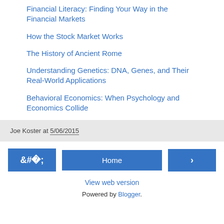Financial Literacy: Finding Your Way in the Financial Markets
How the Stock Market Works
The History of Ancient Rome
Understanding Genetics: DNA, Genes, and Their Real-World Applications
Behavioral Economics: When Psychology and Economics Collide
Joe Koster at 5/06/2015
Home
View web version
Powered by Blogger.